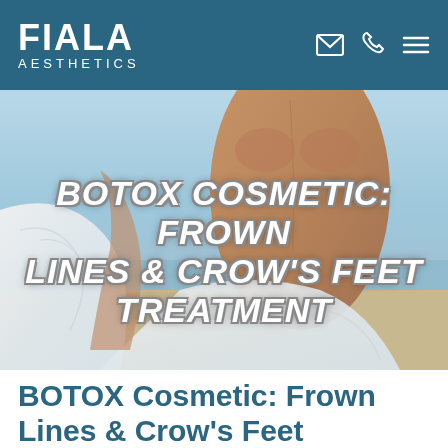FIALA AESTHETICS
[Figure (photo): Hero banner image showing a woman from behind in a white flowing garment at a beach, with sky and ocean in the background.]
BOTOX COSMETIC: FROWN LINES & CROW'S FEET TREATMENT
BOTOX Cosmetic: Frown Lines & Crow's Feet Treatment
Posted on November 15, 2023